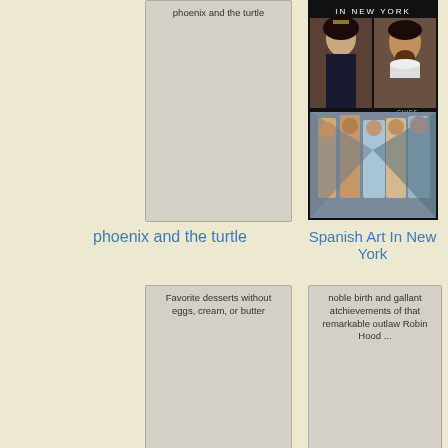[Figure (illustration): Book cover placeholder for 'phoenix and the turtle' - gray rectangle with title text at top]
[Figure (photo): Book cover for 'Spanish Art In New York' showing portrait paintings and Picasso's Les Demoiselles d'Avignon]
phoenix and the turtle
Spanish Art In New York
[Figure (illustration): Book cover placeholder for 'Favorite desserts without eggs, cream, or butter' - gray rectangle with title text]
[Figure (illustration): Book cover placeholder for 'noble birth and gallant atchievements of that remarkable outlaw Robin Hood ...' - gray rectangle with title text]
Favorite desserts without eggs, cream, or butter
noble birth and gallant atchievements of that remarkable outlaw Robin Hood ...